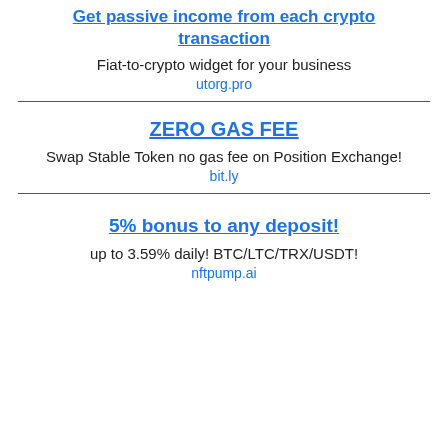Get passive income from each crypto transaction
Fiat-to-crypto widget for your business
utorg.pro
ZERO GAS FEE
Swap Stable Token no gas fee on Position Exchange!
bit.ly
5% bonus to any deposit!
up to 3.59% daily! BTC/LTC/TRX/USDT!
nftpump.ai